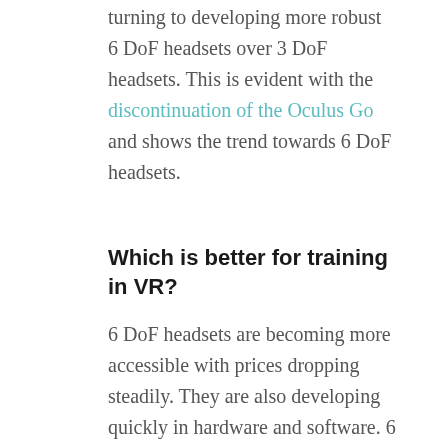turning to developing more robust 6 DoF headsets over 3 DoF headsets. This is evident with the discontinuation of the Oculus Go and shows the trend towards 6 DoF headsets.
Which is better for training in VR?
6 DoF headsets are becoming more accessible with prices dropping steadily. They are also developing quickly in hardware and software. 6 DoF headsets used to require tethers and external cameras to triangulate a